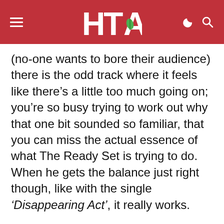HTA (logo with leaf)
(no-one wants to bore their audience) there is the odd track where it feels like there’s a little too much going on; you’re so busy trying to work out why that one bit sounded so familiar, that you can miss the actual essence of what The Ready Set is trying to do. When he gets the balance just right though, like with the single ‘Disappearing Act’, it really works.